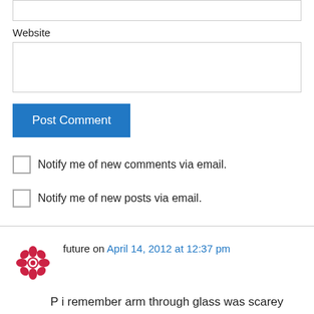Website
Post Comment
Notify me of new comments via email.
Notify me of new posts via email.
future on April 14, 2012 at 12:37 pm
P i remember arm through glass was scarey stuff, glad you survived
Reply